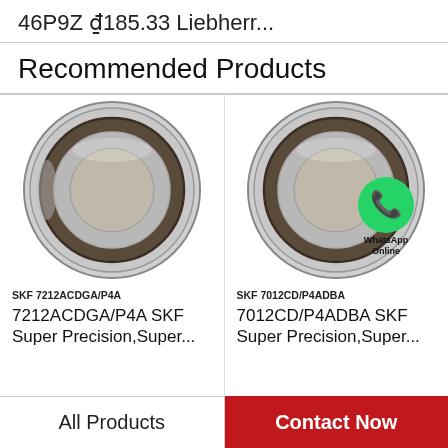46P9Z ₫185.33 Liebherr...
Recommended Products
[Figure (photo): SKF 7212ACDGA/P4A angular contact ball bearing, metallic silver ring with dark inner race]
SKF 7212ACDGA/P4A
7212ACDGA/P4A SKF Super Precision,Super...
[Figure (photo): SKF 7012CD/P4ADBA angular contact ball bearing with WhatsApp Online badge overlay]
SKF 7012CD/P4ADBA
7012CD/P4ADBA SKF Super Precision,Super...
All Products | Contact Now